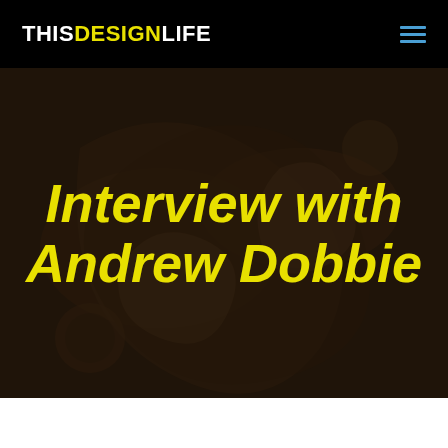THISDESIGNLIFE
[Figure (photo): Background photo of wooden decorative objects with swirling shapes, dark overlay applied]
Interview with Andrew Dobbie